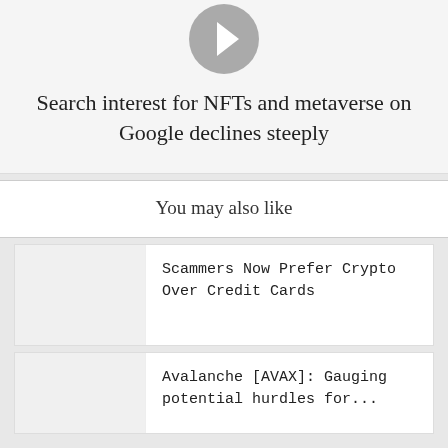[Figure (other): A circular grey navigation arrow button pointing right]
Search interest for NFTs and metaverse on Google declines steeply
You may also like
Scammers Now Prefer Crypto Over Credit Cards
Avalanche [AVAX]: Gauging potential hurdles for...